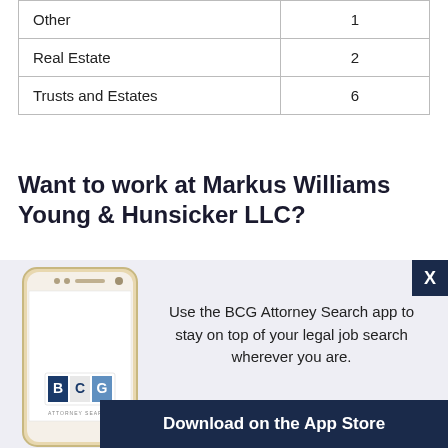|  |  |
| --- | --- |
| Other | 1 |
| Real Estate | 2 |
| Trusts and Estates | 6 |
Want to work at Markus Williams Young & Hunsicker LLC?
The country's best legal placement firm may be able to get you there! Submit your resume to BCG Attorney Search today: CLICK HERE
[Figure (infographic): BCG Attorney Search mobile app advertisement banner with phone image, BCG logo, text about the app, and Download on the App Store button]